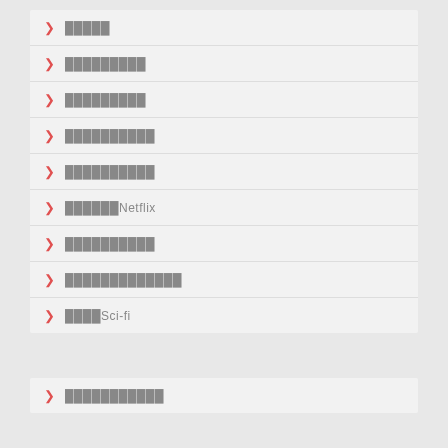█████
█████████
█████████
██████████
██████████
██████Netflix
██████████
█████████████
████Sci-fi
███████████